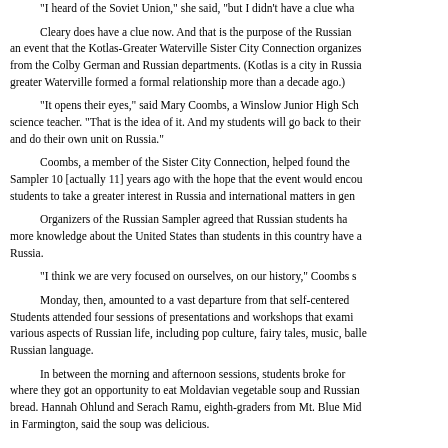"I heard of the Soviet Union," she said, "but I didn't have a clue wha...
Cleary does have a clue now. And that is the purpose of the Russian... an event that the Kotlas-Greater Waterville Sister City Connection organizes... from the Colby German and Russian departments. (Kotlas is a city in Russia... greater Waterville formed a formal relationship more than a decade ago.)
"It opens their eyes," said Mary Coombs, a Winslow Junior High Sch... science teacher. "That is the idea of it. And my students will go back to their... and do their own unit on Russia."
Coombs, a member of the Sister City Connection, helped found the... Sampler 10 [actually 11] years ago with the hope that the event would encou... students to take a greater interest in Russia and international matters in gen...
Organizers of the Russian Sampler agreed that Russian students ha... more knowledge about the United States than students in this country have a... Russia.
"I think we are very focused on ourselves, on our history," Coombs s...
Monday, then, amounted to a vast departure from that self-centered... Students attended four sessions of presentations and workshops that exami... various aspects of Russian life, including pop culture, fairy tales, music, balle... Russian language.
In between the morning and afternoon sessions, students broke for... where they got an opportunity to eat Moldavian vegetable soup and Russian... bread. Hannah Ohlund and Serach Ramu, eighth-graders from Mt. Blue Mid... in Farmington, said the soup was delicious.